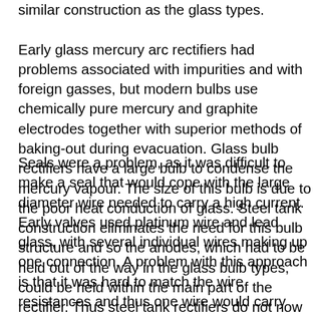similar construction as the glass types. Early glass mercury arc rectifiers had problems associated with impurities and with foreign gasses, but modern bulbs use chemically pure mercury and graphite electrodes together with superior methods of baking-out during evacuation. Glass bulb rectifiers have a large bulb to condense the mercury vapour. The size of this bulb is due to the poor heat conduction of glass. Steel tank construction eliminates the need for this bulb structure and so the anodes, which had to be held out of the way in the glass bulb types, could be held within the main part of the rectifier. Thus steel tank rectifiers do not now resemble the shape of the glass types.
Seals were a problem, as it was difficult to make a seal that would cope with the large diameter wire needed to carry a high current. Early valves used platinum wire and lead glass, with several individual wires making up one connection. A problem with this approach is that it was hard to match the wire resistances and thus one wire would carry more current than the others, leading to failure. Later the wire was replaced by dumet wire - a nickel-steel core coated with copper. This was sufficient for small diameter wires, but with larger diameters the stresses associated with the expansion of the metal cracked the seals. Three small wires used in parallel make 50A valves possible. Later, glass was developed with a coefficient of expansion